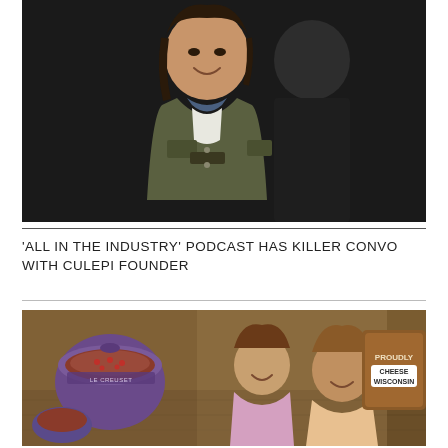[Figure (photo): Two women standing outdoors at night, one in a green military jacket over a denim shirt in the foreground smiling, another in a dark jacket behind her, dark background]
'ALL IN THE INDUSTRY' PODCAST HAS KILLER CONVO WITH CULEPI FOUNDER
[Figure (photo): Two smiling women seated at a wooden table with a Le Creuset purple dutch oven and a 'Proudly Cheese Wisconsin' sign in the background]